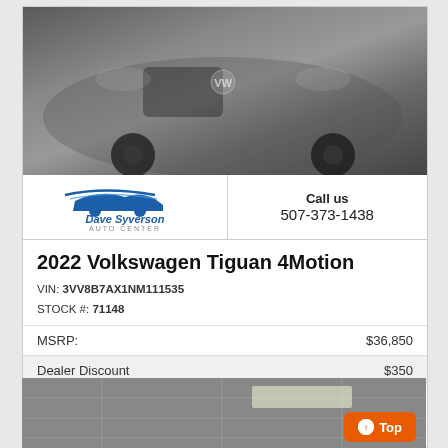[Figure (photo): Front view of a gray 2022 Volkswagen Tiguan 4Motion SUV in a dealership]
[Figure (logo): Dave Syverson Auto Center logo with blue car silhouette and swoosh lines]
Call us
507-373-1438
2022 Volkswagen Tiguan 4Motion
VIN: 3VV8B7AX1NM111535
STOCK #: 71148
|  |  |
| --- | --- |
| MSRP: | $36,850 |
| Dealer Discount | $350 |
CLICK HERE
$36,500
[Figure (photo): Interior/showroom ceiling view of the dealership]